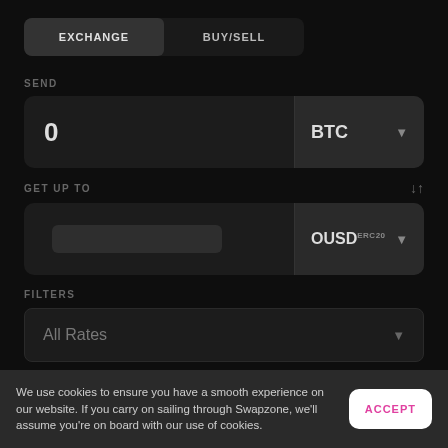EXCHANGE | BUY/SELL
SEND
0  BTC
GET UP TO
OUSD ERC20
FILTERS
All Rates
All hidden
We use cookies to ensure you have a smooth experience on our website. If you carry on sailing through Swapzone, we'll assume you're on board with our use of cookies.